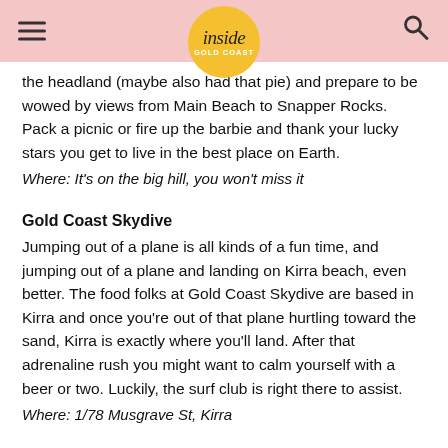inside GOLD COAST
the headland (maybe also had that pie) and prepare to be wowed by views from Main Beach to Snapper Rocks. Pack a picnic or fire up the barbie and thank your lucky stars you get to live in the best place on Earth.
Where: It's on the big hill, you won't miss it
Gold Coast Skydive
Jumping out of a plane is all kinds of a fun time, and jumping out of a plane and landing on Kirra beach, even better. The food folks at Gold Coast Skydive are based in Kirra and once you're out of that plane hurtling toward the sand, Kirra is exactly where you'll land. After that adrenaline rush you might want to calm yourself with a beer or two. Luckily, the surf club is right there to assist.
Where: 1/78 Musgrave St, Kirra